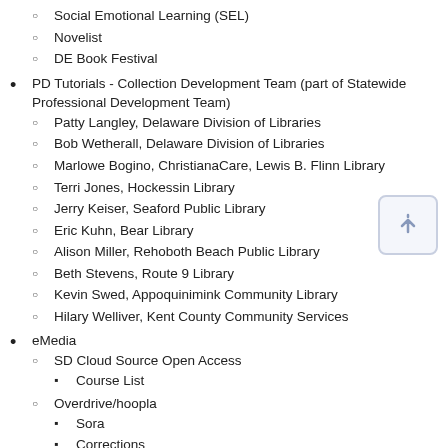Social Emotional Learning (SEL)
Novelist
DE Book Festival
PD Tutorials - Collection Development Team (part of Statewide Professional Development Team)
Patty Langley, Delaware Division of Libraries
Bob Wetherall, Delaware Division of Libraries
Marlowe Bogino, ChristianaCare, Lewis B. Flinn Library
Terri Jones, Hockessin Library
Jerry Keiser, Seaford Public Library
Eric Kuhn, Bear Library
Alison Miller, Rehoboth Beach Public Library
Beth Stevens, Route 9 Library
Kevin Swed, Appoquinimink Community Library
Hilary Welliver, Kent County Community Services
eMedia
SD Cloud Source Open Access
Course List
Overdrive/hoopla
Sora
Corrections